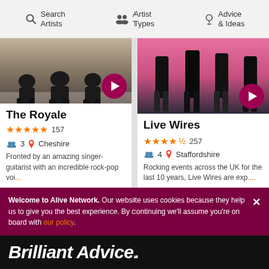Search Artists | Artist Types | Advice & Ideas
[Figure (photo): Photo of The Royale band members sitting on floor with instruments, dark clothing]
The Royale
★★★★★ 157
👥 3  📍 Cheshire
Fronted by an amazing singer-guitarist with an incredible rock-pop voi...
From £984
Fee for Middlewich
[Figure (photo): Photo of Live Wires band members standing against pink background]
Live Wires
★★★★½ 257
👥 4  📍 Staffordshire
Rocking events across the UK for the last 10 years, Live Wires are exp....
From £1,649
Fee for Middlewich
Welcome to Alive Network. Our website uses cookies because they help us to give you the best experience. By continuing we'll assume you're on board with our policy.
Brilliant Advice.